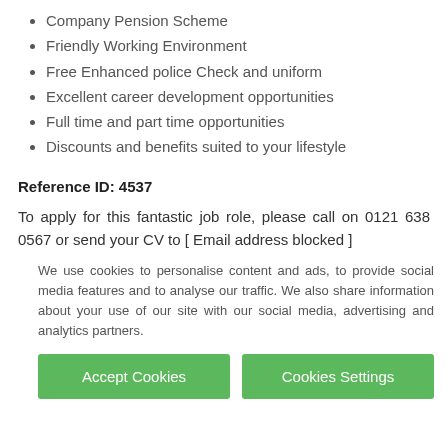Company Pension Scheme
Friendly Working Environment
Free Enhanced police Check and uniform
Excellent career development opportunities
Full time and part time opportunities
Discounts and benefits suited to your lifestyle
Reference ID: 4537
To apply for this fantastic job role, please call on 0121 638 0567 or send your CV to [ Email address blocked ]
We use cookies to personalise content and ads, to provide social media features and to analyse our traffic. We also share information about your use of our site with our social media, advertising and analytics partners.